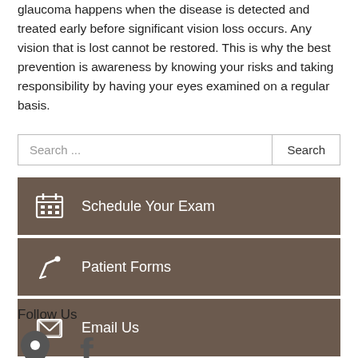glaucoma happens when the disease is detected and treated early before significant vision loss occurs. Any vision that is lost cannot be restored. This is why the best prevention is awareness by knowing your risks and taking responsibility by having your eyes examined on a regular basis.
Search ...
Schedule Your Exam
Patient Forms
Email Us
Follow Us
[Figure (illustration): Map pin icon and Facebook icon for social media links]